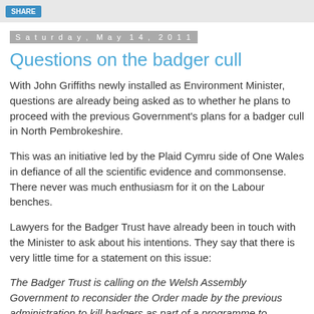SHARE
Saturday, May 14, 2011
Questions on the badger cull
With John Griffiths newly installed as Environment Minister, questions are already being asked as to whether he plans to proceed with the previous Government's plans for a badger cull in North Pembrokeshire.
This was an initiative led by the Plaid Cymru side of One Wales in defiance of all the scientific evidence and commonsense. There never was much enthusiasm for it on the Labour benches.
Lawyers for the Badger Trust have already been in touch with the Minister to ask about his intentions. They say that there is very little time for a statement on this issue:
The Badger Trust is calling on the Welsh Assembly Government to reconsider the Order made by the previous administration to kill badgers as part of a programme to